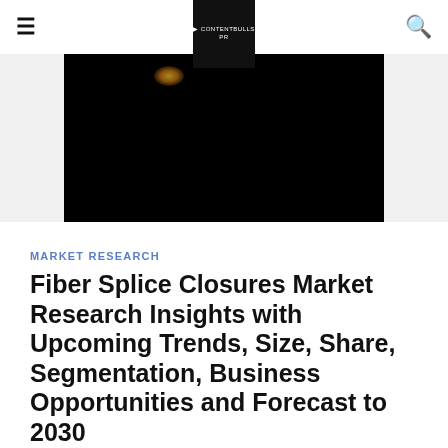≡  CONTENTBULLS PR  🔍
[Figure (photo): Dark/black hero image with a small amber/orange glow spot near upper left, appearing to show fiber optic or similar technology in low light]
MARKET RESEARCH
Fiber Splice Closures Market Research Insights with Upcoming Trends, Size, Share, Segmentation, Business Opportunities and Forecast to 2030
2 months ago   Add Comment